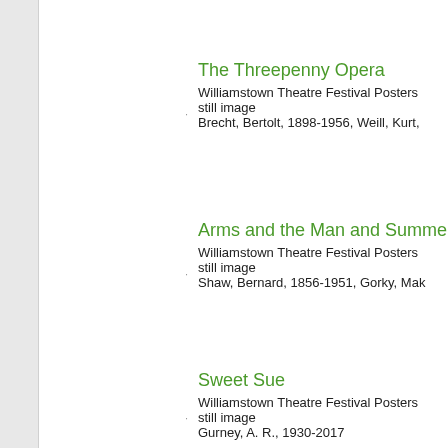The Threepenny Opera
Williamstown Theatre Festival Posters
still image
Brecht, Bertolt, 1898-1956, Weill, Kurt,
Arms and the Man and Summe
Williamstown Theatre Festival Posters
still image
Shaw, Bernard, 1856-1951, Gorky, Mak
Sweet Sue
Williamstown Theatre Festival Posters
still image
Gurney, A. R., 1930-2017